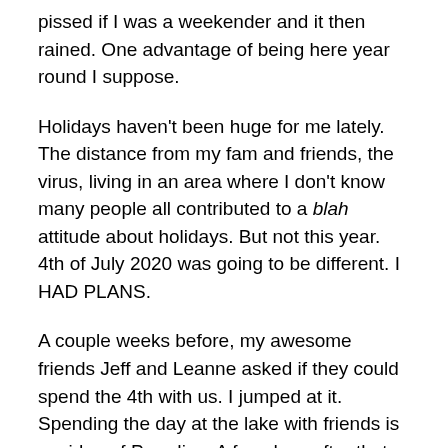pissed if I was a weekender and it then rained. One advantage of being here year round I suppose.
Holidays haven't been huge for me lately. The distance from my fam and friends, the virus, living in an area where I don't know many people all contributed to a blah attitude about holidays. But not this year. 4th of July 2020 was going to be different. I HAD PLANS.
A couple weeks before, my awesome friends Jeff and Leanne asked if they could spend the 4th with us. I jumped at it. Spending the day at the lake with friends is my idea of Paradise. A few days after that my youngest daughter told me that she and her boyfriend were coming up for the weekend. YAY! Then a few